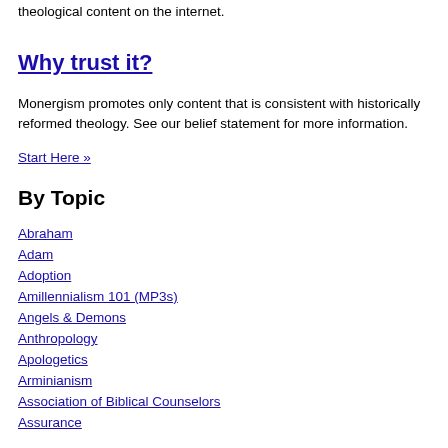theological content on the internet.
Why trust it?
Monergism promotes only content that is consistent with historically reformed theology. See our belief statement for more information.
Start Here »
By Topic
Abraham
Adam
Adoption
Amillennialism 101 (MP3s)
Angels & Demons
Anthropology
Apologetics
Arminianism
Association of Biblical Counselors
Assurance